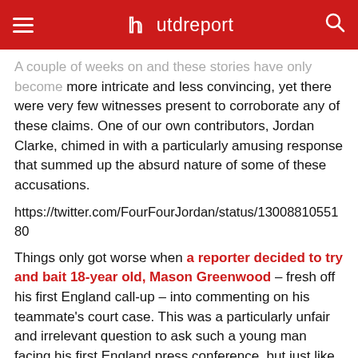utdreport
A couple of weeks on and these stories have only become more intricate and less convincing, yet there were very few witnesses present to corroborate any of these claims. One of our own contributors, Jordan Clarke, chimed in with a particularly amusing response that summed up the absurd nature of some of these accusations.
https://twitter.com/FourFourJordan/status/1300881055180
Things only got worse when a reporter decided to try and bait 18-year old, Mason Greenwood – fresh off his first England call-up – into commenting on his teammate's court case. This was a particularly unfair and irrelevant question to ask such a young man facing his first England press conference, but just like his performances on the pitch, he handled it maturely and with composure.
JUMPING THE GUN